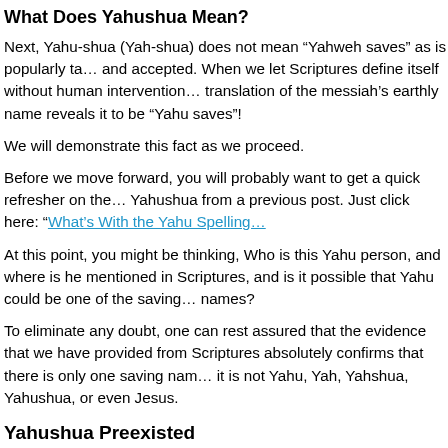What Does Yahushua Mean?
Next, Yahu-shua (Yah-shua) does not mean “Yahweh saves” as is popularly taught and accepted. When we let Scriptures define itself without human intervention, translation of the messiah’s earthly name reveals it to be “Yahu saves”!
We will demonstrate this fact as we proceed.
Before we move forward, you will probably want to get a quick refresher on the Yahushua from a previous post. Just click here: “What’s With the Yahu Spelling…
At this point, you might be thinking, Who is this Yahu person, and where is he mentioned in Scriptures, and is it possible that Yahu could be one of the saving names?
To eliminate any doubt, one can rest assured that the evidence that we have provided from Scriptures absolutely confirms that there is only one saving name… it is not Yahu, Yah, Yahshua, Yahushua, or even Jesus.
Yahushua Preexisted
When one examines Scriptures, it is without a doubt that Yahushua the messia…